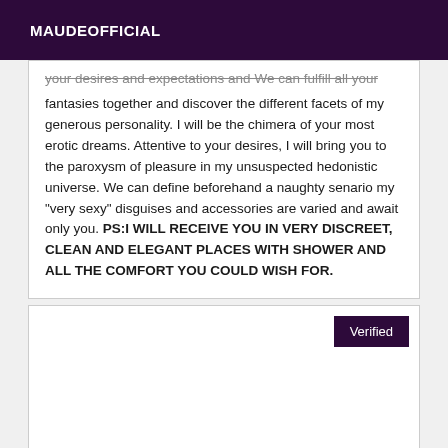MAUDEOFFICIAL
your desires and expectations and We can fulfill all your fantasies together and discover the different facets of my generous personality. I will be the chimera of your most erotic dreams. Attentive to your desires, I will bring you to the paroxysm of pleasure in my unsuspected hedonistic universe. We can define beforehand a naughty senario my "very sexy" disguises and accessories are varied and await only you. PS:I WILL RECEIVE YOU IN VERY DISCREET, CLEAN AND ELEGANT PLACES WITH SHOWER AND ALL THE COMFORT YOU COULD WISH FOR.
Verified